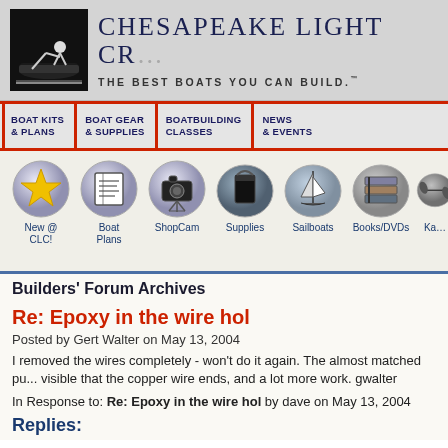[Figure (logo): Chesapeake Light Craft logo with silhouette of person in boat on black background, site title and tagline]
CHESAPEAKE LIGHT CR...
THE BEST BOATS YOU CAN BUILD.
BOAT KITS & PLANS
BOAT GEAR & SUPPLIES
BOATBUILDING CLASSES
NEWS & EVENTS
[Figure (screenshot): Icon navigation row with oval/circle icons: New @ CLC! (gold star), Boat Plans (blueprints), ShopCam (camera), Supplies (bucket), Sailboats (sailboat), Books/DVDs (books), Ka... (partial)]
Builders' Forum Archives
Re: Epoxy in the wire hol
Posted by Gert Walter on May 13, 2004
I removed the wires completely - won't do it again. The almost matched pu... visible that the copper wire ends, and a lot more work. gwalter
In Response to: Re: Epoxy in the wire hol by dave on May 13, 2004
Replies: